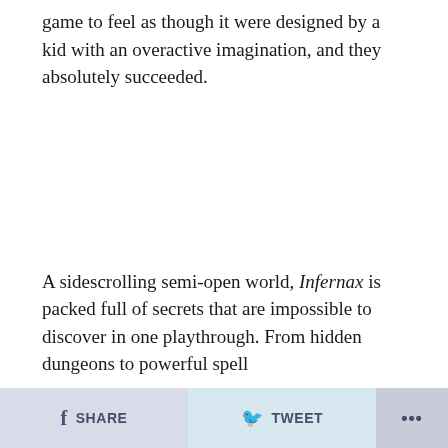game to feel as though it were designed by a kid with an overactive imagination, and they absolutely succeeded.
A sidescrolling semi-open world, Infernax is packed full of secrets that are impossible to discover in one playthrough. From hidden dungeons to powerful spell
SHARE   TWEET   ...